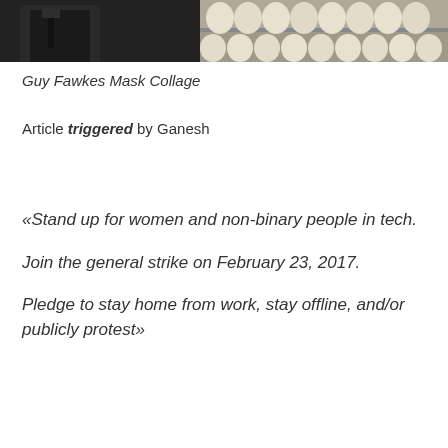[Figure (photo): Cropped photo strip showing a person in a dark suit and tie on the left, and shelves of white Guy Fawkes masks on the right]
Guy Fawkes Mask Collage
Article triggered by Ganesh
«Stand up for women and non-binary people in tech. Join the general strike on February 23, 2017. Pledge to stay home from work, stay offline, and/or publicly protest»